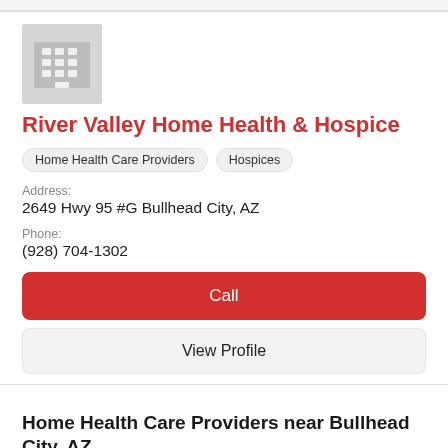[Figure (illustration): Gray building/office icon placeholder image]
River Valley Home Health & Hospice
Home Health Care Providers
Hospices
Address:
2649 Hwy 95 #G Bullhead City, AZ
Phone:
(928) 704-1302
Call
View Profile
Home Health Care Providers near Bullhead City, AZ